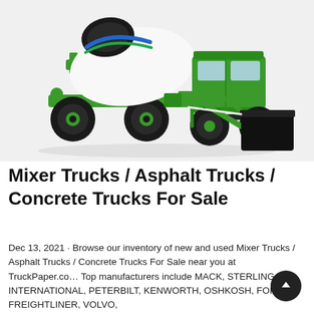[Figure (photo): A green self-loading concrete mixer truck with a large white and dark drum on top, black front loader bucket, and visible cab, on a light gray background.]
Mixer Trucks / Asphalt Trucks / Concrete Trucks For Sale
Dec 13, 2021 · Browse our inventory of new and used Mixer Trucks / Asphalt Trucks / Concrete Trucks For Sale near you at TruckPaper.co… Top manufacturers include MACK, STERLING, INTERNATIONAL, PETERBILT, KENWORTH, OSHKOSH, FORD, FREIGHTLINER, VOLVO,